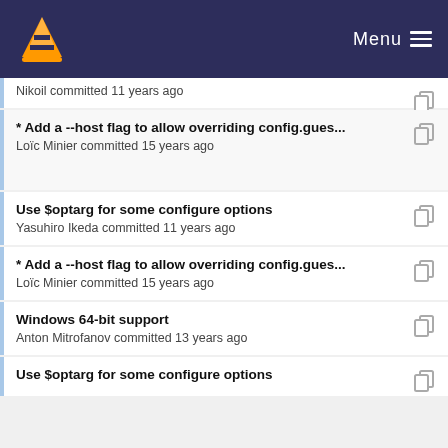VLC Menu
Nikoil committed 11 years ago
* Add a --host flag to allow overriding config.gues...
Loïc Minier committed 15 years ago
Use $optarg for some configure options
Yasuhiro Ikeda committed 11 years ago
* Add a --host flag to allow overriding config.gues...
Loïc Minier committed 15 years ago
Windows 64-bit support
Anton Mitrofanov committed 13 years ago
Use $optarg for some configure options